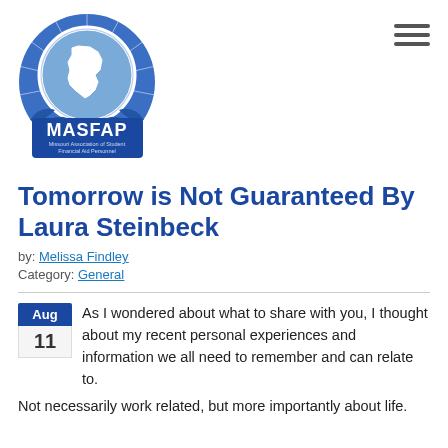[Figure (logo): MASFAP logo — Missouri Association of Student Financial Aid Personnel, circular blue badge with Missouri state outline]
Tomorrow is Not Guaranteed By Laura Steinbeck
by: Melissa Findley
Category: General
As I wondered about what to share with you, I thought about my recent personal experiences and information we all need to remember and can relate to. Not necessarily work related, but more importantly about life.